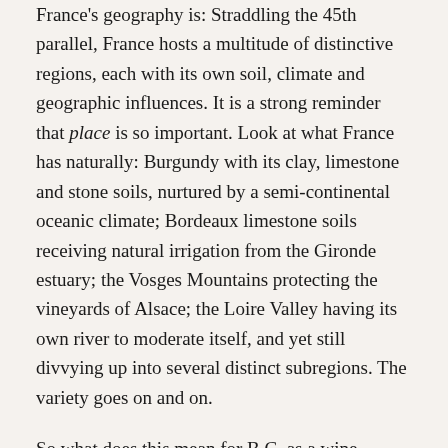France's geography is: Straddling the 45th parallel, France hosts a multitude of distinctive regions, each with its own soil, climate and geographic influences. It is a strong reminder that place is so important. Look at what France has naturally: Burgundy with its clay, limestone and stone soils, nurtured by a semi-continental oceanic climate; Bordeaux limestone soils receiving natural irrigation from the Gironde estuary; the Vosges Mountains protecting the vineyards of Alsace; the Loire Valley having its own river to moderate itself, and yet still divvying up into several distinct subregions. The variety goes on and on.
So what does this mean for B.C. as a wine region?
One of our largest accomplishments these last few years is our legally backed delineation of GIs (geographical indicators), giving the many microclimates of British Columbia a chance to express and define their identities. As a new world region, we are not bound by the deafening rules that tightly grip French wine producers; yet our freedom to play can also come at a cost as we stumble on a path to wine maturity that is not exclusive to only those who care about quality, with an ulterior motive of financial and corporate relations...